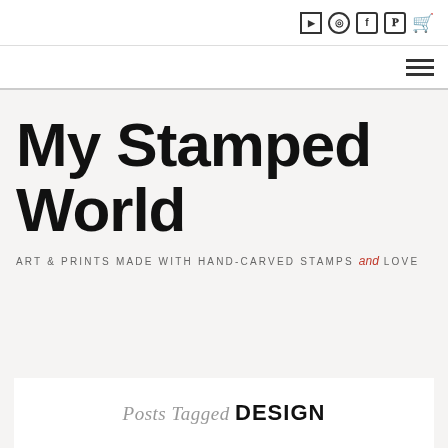Social icons: YouTube, Instagram, Facebook, Pinterest, Cart
Hamburger menu icon
My Stamped World
ART & PRINTS MADE WITH HAND-CARVED STAMPS and LOVE
Posts Tagged DESIGN